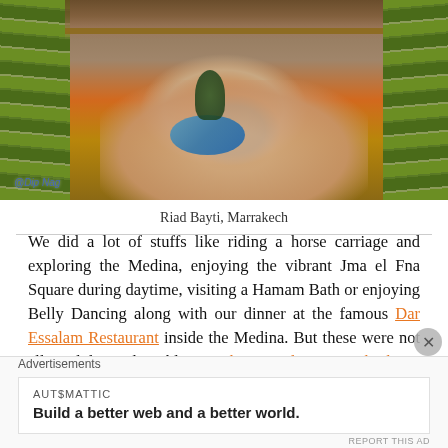[Figure (photo): Aerial/top-down view of a riad courtyard in Marrakech with a central pool, terracotta tiles, green plants, wooden balconies, and rows of large green ceramic jars along both sides. Watermark reads '@Dip Nag'.]
Riad Bayti, Marrakech
We did a lot of stuffs like riding a horse carriage and exploring the Medina, enjoying the vibrant Jma el Fna Square during daytime, visiting a Hamam Bath or enjoying Belly Dancing along with our dinner at the famous Dar Essalam Restaurant inside the Medina. But these were not all we did! Read my blog on Things to do in Marrakesh to
Advertisements
AUTOMATTIC
Build a better web and a better world.